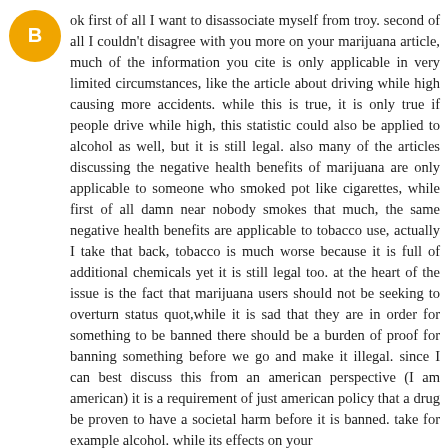[Figure (illustration): Orange circular avatar/profile icon with a white 'B' blogger-style logo in the center]
ok first of all I want to disassociate myself from troy. second of all I couldn't disagree with you more on your marijuana article, much of the information you cite is only applicable in very limited circumstances, like the article about driving while high causing more accidents. while this is true, it is only true if people drive while high, this statistic could also be applied to alcohol as well, but it is still legal. also many of the articles discussing the negative health benefits of marijuana are only applicable to someone who smoked pot like cigarettes, while first of all damn near nobody smokes that much, the same negative health benefits are applicable to tobacco use, actually I take that back, tobacco is much worse because it is full of additional chemicals yet it is still legal too. at the heart of the issue is the fact that marijuana users should not be seeking to overturn status quot,while it is sad that they are in order for something to be banned there should be a burden of proof for banning something before we go and make it illegal. since I can best discuss this from an american perspective (I am american) it is a requirement of just american policy that a drug be proven to have a societal harm before it is banned. take for example alcohol. while its effects on your